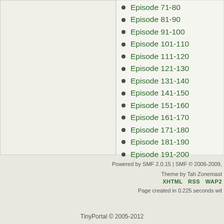Episode 71-80
Episode 81-90
Episode 91-100
Episode 101-110
Episode 111-120
Episode 121-130
Episode 131-140
Episode 141-150
Episode 151-160
Episode 161-170
Episode 171-180
Episode 181-190
Episode 191-200
Episode 201-210
Episode 211-218
Powered by SMF 2.0.15 | SMF © 2006-2009,
Theme by Tah Zonemast
XHTML  RSS  WAP2
Page created in 0.225 seconds wit
TinyPortal © 2005-2012